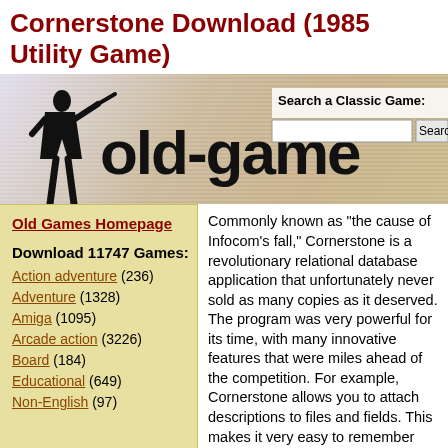Cornerstone Download (1985 Utility Game)
[Figure (screenshot): old-games.com website banner with silhouette of a female figure holding a weapon on the left, the old-games logo in large black text, and a search box labeled 'Search a Classic Game:' with a Search button on the right]
Old Games Homepage
Download 11747 Games:
Action adventure (236)
Adventure (1328)
Amiga (1095)
Arcade action (3226)
Board (184)
Educational (649)
Non-English (97)
Commonly known as "the cause of Infocom's fall," Cornerstone is a revolutionary relational database application that unfortunately never sold as many copies as it deserved. The program was very powerful for its time, with many innovative features that were miles ahead of the competition. For example, Cornerstone allows you to attach descriptions to files and fields. This makes it very easy to remember their function if